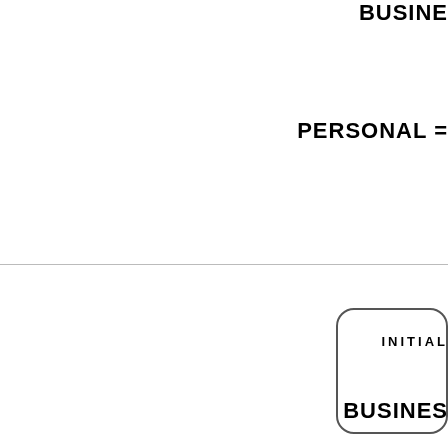BUSINE...
PERSONAL =
[Figure (other): Rounded rectangle form field/box]
INITIAL
BUSINES...